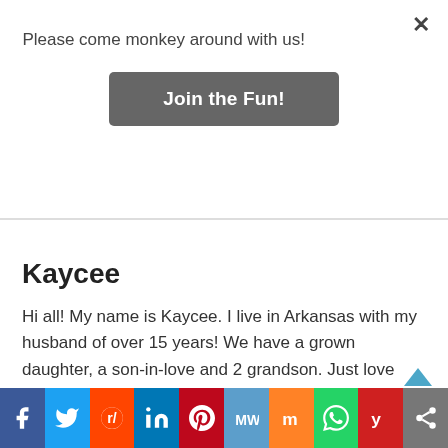Please come monkey around with us!
Join the Fun!
Kaycee
Hi all! My name is Kaycee. I live in Arkansas with my husband of over 15 years! We have a grown daughter, a son-in-love and 2 grandson. Just love being Nonna! We also have an angel waiting on us to join her one day, she was 11 months old when she went to Heaven. We also have two great Chihuahuas and a Great Dane, along with several fish in our koi
[Figure (other): Social share bar with icons for Facebook, Twitter, Reddit, LinkedIn, Pinterest, MeWe, Mix, WhatsApp, Yummly, and share]